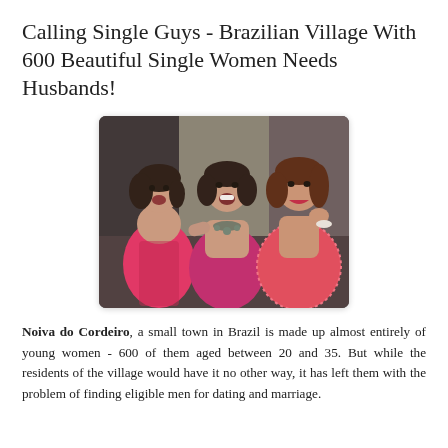Calling Single Guys - Brazilian Village With 600 Beautiful Single Women Needs Husbands!
[Figure (photo): Three young women in pink/magenta dresses smiling and posing together at what appears to be a social event or party.]
Noiva do Cordeiro, a small town in Brazil is made up almost entirely of young women - 600 of them aged between 20 and 35. But while the residents of the village would have it no other way, it has left them with the problem of finding eligible men for dating and marriage.